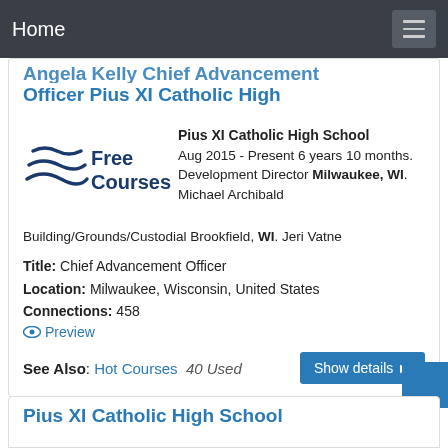Home
Angela Kelly Chief Advancement Officer Pius XI Catholic High
Pius XI Catholic High School Aug 2015 - Present 6 years 10 months. Development Director Milwaukee, WI. Michael Archibald
Building/Grounds/Custodial Brookfield, WI. Jeri Vatne
Title: Chief Advancement Officer
Location: Milwaukee, Wisconsin, United States
Connections: 458
Preview
See Also: Hot Courses  40 Used
Pius XI Catholic High School